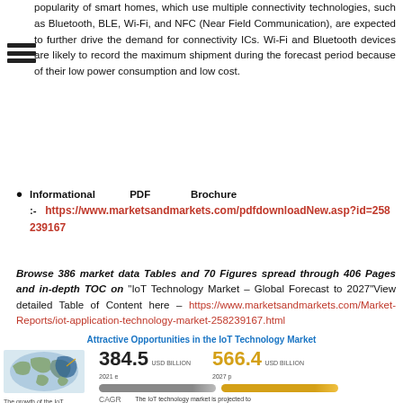popularity of smart homes, which use multiple connectivity technologies, such as Bluetooth, BLE, Wi-Fi, and NFC (Near Field Communication), are expected to further drive the demand for connectivity ICs. Wi-Fi and Bluetooth devices are likely to record the maximum shipment during the forecast period because of their low power consumption and low cost.
Informational PDF Brochure :- https://www.marketsandmarkets.com/pdfdownloadNew.asp?id=258239167
Browse 386 market data Tables and 70 Figures spread through 406 Pages and in-depth TOC on "IoT Technology Market – Global Forecast to 2027"View detailed Table of Content here – https://www.marketsandmarkets.com/Market-Reports/iot-application-technology-market-258239167.html
[Figure (infographic): Attractive Opportunities in the IoT Technology Market infographic showing 384.5 USD Billion (2021e) and 566.4 USD Billion (2027p) with CAGR 6.7%, a world map highlighting APAC, and bullet points about 5G communications and product launches.]